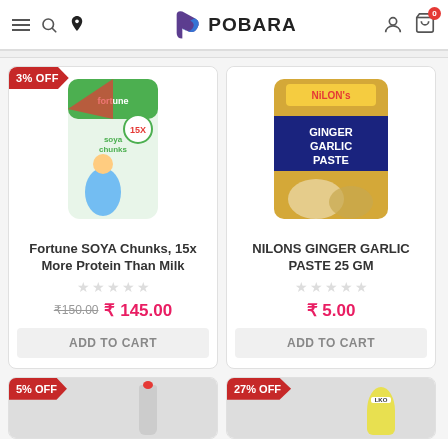POBARA - online grocery shopping app header with menu, search, location, logo, account, and cart icons
[Figure (photo): Fortune SOYA Chunks product package - green and white bag with 15X protein logo]
Fortune SOYA Chunks, 15x More Protein Than Milk
₹150.00  ₹ 145.00
ADD TO CART
[Figure (photo): Nilons Ginger Garlic Paste 25 GM product package - golden/blue bag]
NILONS GINGER GARLIC PASTE 25 GM
₹ 5.00
ADD TO CART
[Figure (photo): Partial product card with 5% OFF badge, shows bottle]
[Figure (photo): Partial product card with 27% OFF badge, shows LKO branded bottle]